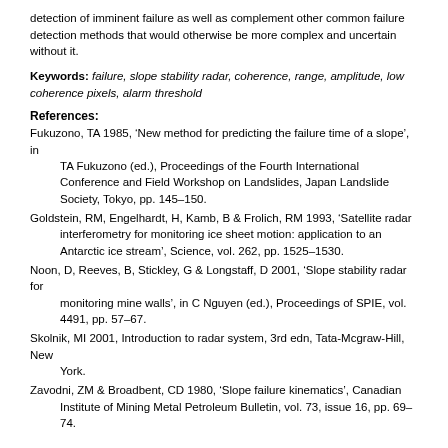detection of imminent failure as well as complement other common failure detection methods that would otherwise be more complex and uncertain without it.
Keywords: failure, slope stability radar, coherence, range, amplitude, low coherence pixels, alarm threshold
References:
Fukuzono, TA 1985, ‘New method for predicting the failure time of a slope’, in TA Fukuzono (ed.), Proceedings of the Fourth International Conference and Field Workshop on Landslides, Japan Landslide Society, Tokyo, pp. 145–150.
Goldstein, RM, Engelhardt, H, Kamb, B & Frolich, RM 1993, ‘Satellite radar interferometry for monitoring ice sheet motion: application to an Antarctic ice stream’, Science, vol. 262, pp. 1525–1530.
Noon, D, Reeves, B, Stickley, G & Longstaff, D 2001, ‘Slope stability radar for monitoring mine walls’, in C Nguyen (ed.), Proceedings of SPIE, vol. 4491, pp. 57–67.
Skolnik, MI 2001, Introduction to radar system, 3rd edn, Tata-Mcgraw-Hill, New York.
Zavodni, ZM & Broadbent, CD 1980, ‘Slope failure kinematics’, Canadian Institute of Mining Metal Petroleum Bulletin, vol. 73, issue 16, pp. 69–74.